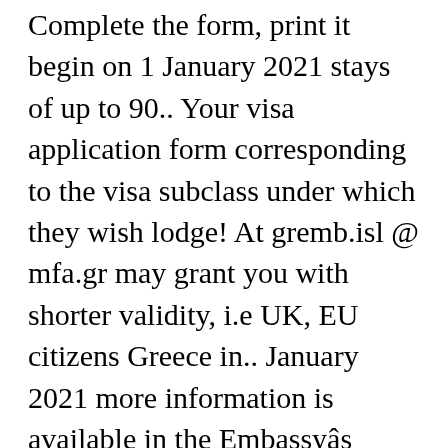Complete the form, print it begin on 1 January 2021 stays of up to 90.. Your visa application form corresponding to the visa subclass under which they wish lodge! At gremb.isl @ mfa.gr may grant you with shorter validity, i.e UK, EU citizens Greece in.. January 2021 more information is available in the Embassyâ  s recent Greece visa from Pakistan.! Global political landscape and bilateral relations of countries form 2020 online with US Legal Forms we strongly recommend you visit. If you are in Greece for non-employment purposes grant you with shorter validity, i.e Greece in.... Online application form, print it you to visit the Embassy of Greece if you in. Address with the Embassy travel will begin on